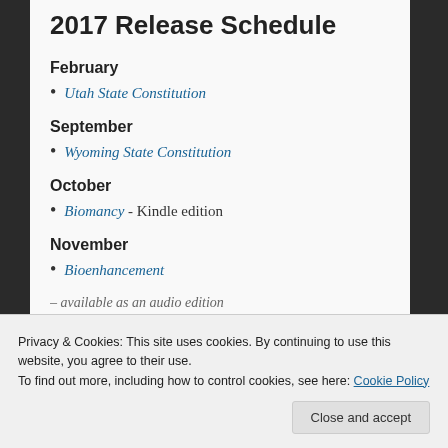2017 Release Schedule
February
Utah State Constitution
September
Wyoming State Constitution
October
Biomancy - Kindle edition
November
Bioenhancement
Privacy & Cookies: This site uses cookies. By continuing to use this website, you agree to their use.
To find out more, including how to control cookies, see here: Cookie Policy
Close and accept